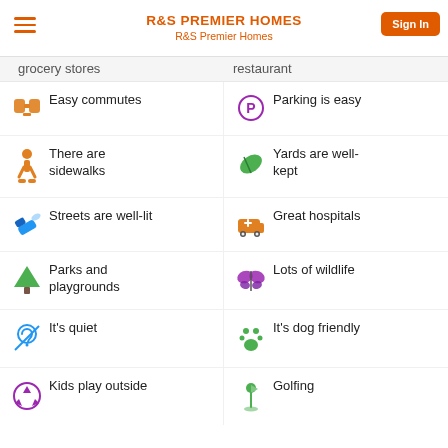R&S PREMIER HOMES
R&S Premier Homes
grocery stores
restaurant
Easy commutes
Parking is easy
There are sidewalks
Yards are well-kept
Streets are well-lit
Great hospitals
Parks and playgrounds
Lots of wildlife
It's quiet
It's dog friendly
Kids play outside
Golfing